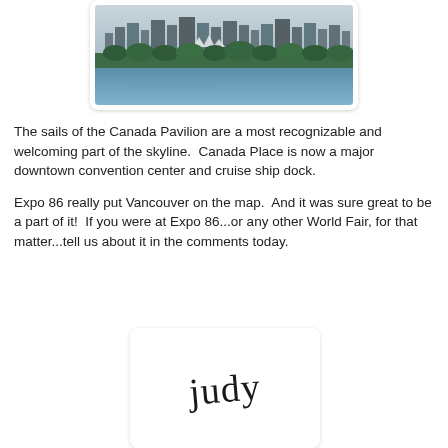[Figure (photo): Aerial/water-level view of Vancouver skyline with Canada Place sails visible, forested foreground and water in the foreground, city buildings in background, hazy sky.]
The sails of the Canada Pavilion are a most recognizable and welcoming part of the skyline.  Canada Place is now a major downtown convention center and cruise ship dock.
Expo 86 really put Vancouver on the map.  And it was sure great to be a part of it!  If you were at Expo 86...or any other World Fair, for that matter...tell us about it in the comments today.
[Figure (illustration): Cursive signature reading 'Judy' on a white card with rounded corners and drop shadow.]